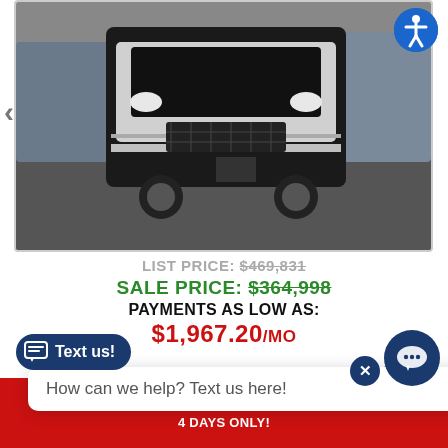[Figure (photo): Front view of a large luxury motorhome/RV (black and silver) in a dealership lot, with other RVs visible in the background. Navigation arrow on the left, accessibility icon on top right.]
LIST PRICE: $469,831
SALE PRICE: $364,998
PAYMENTS AS LOW AS:
$1,967.20/MO
20 DOWN
How can we help? Text us here!
CK FOR LOWEST PRI
Text us!
PRE HERSHEY RV SHOW, AUGUST 18TH - 21ST | 4 DAYS ONLY!